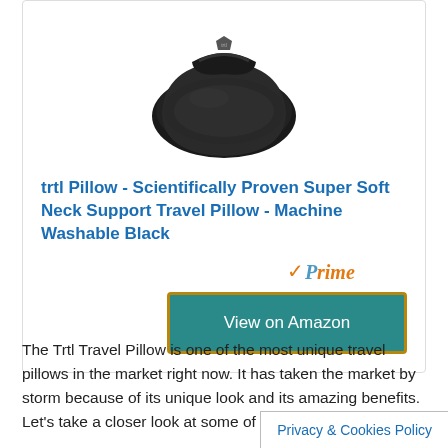[Figure (photo): Black trtl travel pillow product photo on white background]
trtl Pillow - Scientifically Proven Super Soft Neck Support Travel Pillow - Machine Washable Black
[Figure (logo): Amazon Prime logo with orange checkmark and Prime text]
View on Amazon
The Trtl Travel Pillow is one of the most unique travel pillows in the market right now. It has taken the market by storm because of its unique look and its amazing benefits. Let’s take a closer look at some of its amazing features.
Privacy & Cookies Policy